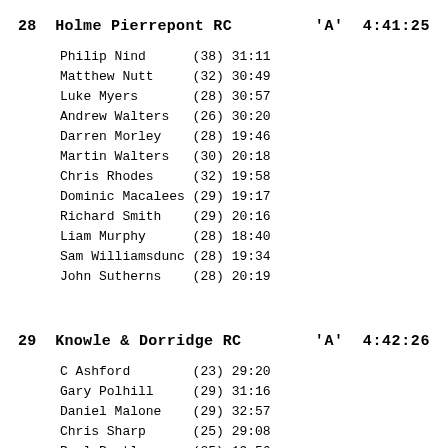28  Holme Pierrepont RC   'A'  4:41:25
Philip Nind      (38) 31:11
Matthew Nutt     (32) 30:49
Luke Myers       (28) 30:57
Andrew Walters   (26) 30:20
Darren Morley    (28) 19:46
Martin Walters   (30) 20:18
Chris Rhodes     (32) 19:58
Dominic Macalees (29) 19:17
Richard Smith    (29) 20:16
Liam Murphy      (28) 18:40
Sam Williamsdunc (28) 19:34
John Sutherns    (28) 20:19
29  Knowle & Dorridge RC   'A'  4:42:26
C Ashford        (23) 29:20
Gary Polhill     (29) 31:16
Daniel Malone    (29) 32:57
Chris Sharp      (25) 29:08
Paul Bentley     (25) 19:56
Paul Baker       (25) 18:36
Darren John      (29) 20:26